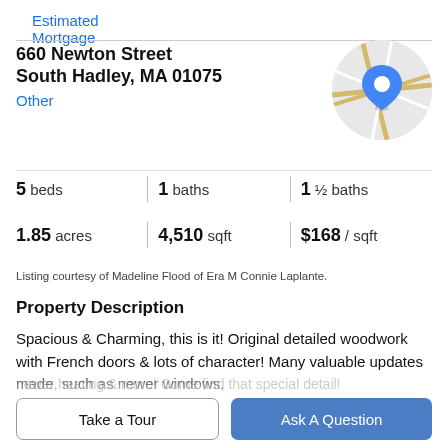Estimated Mortgage
660 Newton Street
South Hadley, MA 01075
Other
[Figure (map): Circular map thumbnail showing street map with a blue location pin marker]
| 5 beds | 1 baths | 1 ½ baths |
| 1.85 acres | 4,510 sqft | $168 / sqft |
Listing courtesy of Madeline Flood of Era M Connie Laplante.
Property Description
Spacious & Charming, this is it! Original detailed woodwork with French doors & lots of character! Many valuable updates made, such as newer windows,